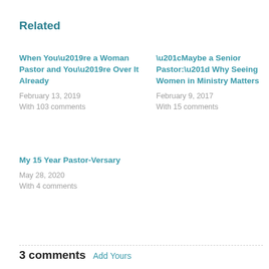Related
When You’re a Woman Pastor and You’re Over It Already
February 13, 2019
With 103 comments
“Maybe a Senior Pastor:” Why Seeing Women in Ministry Matters
February 9, 2017
With 15 comments
My 15 Year Pastor-Versary
May 28, 2020
With 4 comments
3 comments  Add Yours